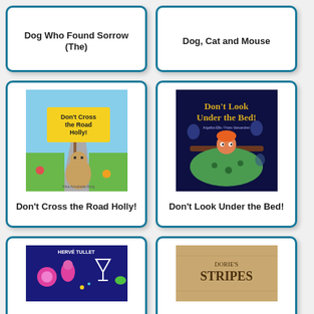[Figure (other): Book card - Dog Who Found Sorrow (The)]
Dog Who Found Sorrow (The)
[Figure (other): Book card - Dog, Cat and Mouse]
Dog, Cat and Mouse
[Figure (photo): Book cover: Don't Cross the Road Holly!]
Don't Cross the Road Holly!
[Figure (photo): Book cover: Don't Look Under the Bed!]
Don't Look Under the Bed!
[Figure (photo): Book cover: Herve Tullet book]
[Figure (photo): Book cover: Dorie's Stripes]